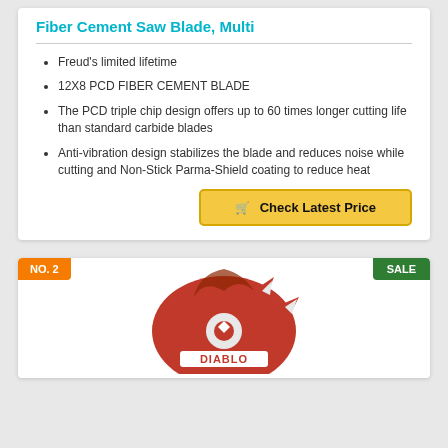Fiber Cement Saw Blade, Multi
Freud's limited lifetime
12X8 PCD FIBER CEMENT BLADE
The PCD triple chip design offers up to 60 times longer cutting life than standard carbide blades
Anti-vibration design stabilizes the blade and reduces noise while cutting and Non-Stick Parma-Shield coating to reduce heat
Check Latest Price
NO. 2
SALE
[Figure (logo): Diablo brand circular saw blade logo in red/orange color]